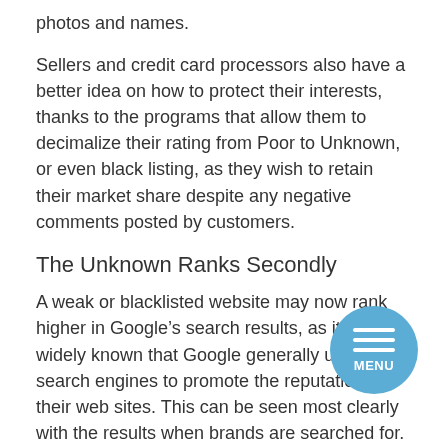photos and names.
Sellers and credit card processors also have a better idea on how to protect their interests, thanks to the programs that allow them to decimalize their rating from Poor to Unknown, or even black listing, as they wish to retain their market share despite any negative comments posted by customers.
The Unknown Ranks Secondly
A weak or blacklisted website may now rank higher in Google’s search results, as it is widely known that Google generally uses its search engines to promote the reputation of their web sites. This can be seen most clearly with the results when brands are searched for.
Companies tend to black list websites with one or